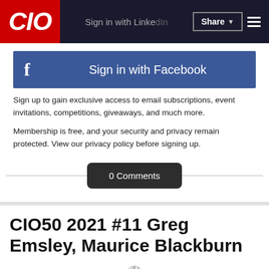CIO | Sign in with LinkedIn | Share
[Figure (screenshot): Facebook sign-in button with blue background and 'f' logo on the left, text 'Sign in with Facebook' centered in white]
Sign up to gain exclusive access to email subscriptions, event invitations, competitions, giveaways, and much more.
Membership is free, and your security and privacy remain protected. View our privacy policy before signing up.
0 Comments
CIO50 2021 #11 Greg Emsley, Maurice Blackburn
[Figure (illustration): Loading spinner icon]